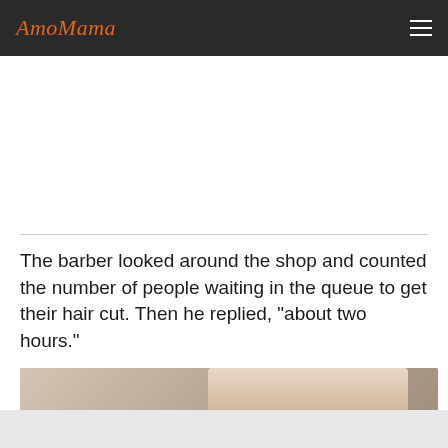AmoMama
The barber looked around the shop and counted the number of people waiting in the queue to get their hair cut. Then he replied, "about two hours."
[Figure (photo): A barber wearing a black mask and glasses, holding scissors, working in a barbershop.]